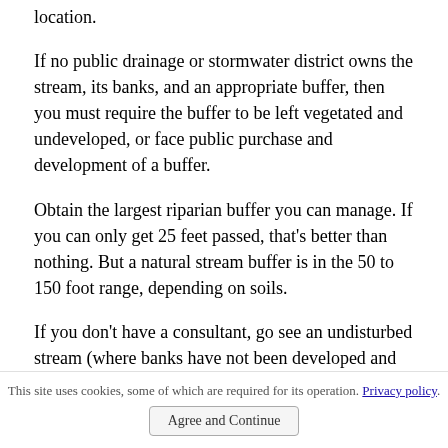location.
If no public drainage or stormwater district owns the stream, its banks, and an appropriate buffer, then you must require the buffer to be left vegetated and undeveloped, or face public purchase and development of a buffer.
Obtain the largest riparian buffer you can manage. If you can only get 25 feet passed, that’s better than nothing. But a natural stream buffer is in the 50 to 150 foot range, depending on soils.
If you don’t have a consultant, go see an undisturbed stream (where banks have not been developed and where farmers or others have not straightened, cleared, or altered the creek bank) in your general part of the
This site uses cookies, some of which are required for its operation. Privacy policy. Agree and Continue